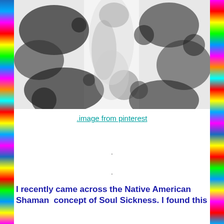[Figure (photo): Abstract black and white image resembling a snowy or marbled texture with dark swirling patterns, appearing to show a figure or form emerging from a monochrome background.]
.image from pinterest
.
.
I recently came across the Native American Shaman  concept of Soul Sickness. I found this